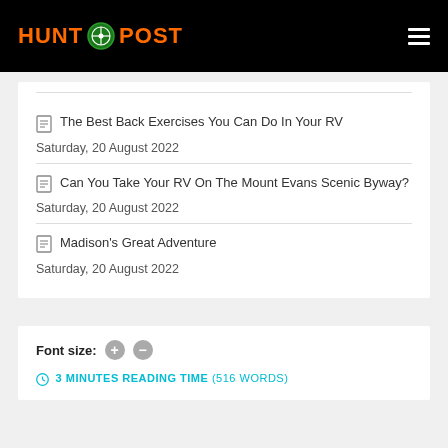HUNT POST
The Best Back Exercises You Can Do In Your RV
Saturday, 20 August 2022
Can You Take Your RV On The Mount Evans Scenic Byway?
Saturday, 20 August 2022
Madison's Great Adventure
Saturday, 20 August 2022
Font size:
3 MINUTES READING TIME (516 WORDS)